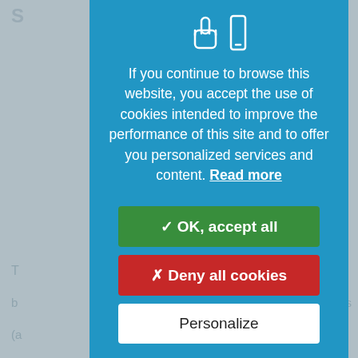[Figure (screenshot): Cookie consent modal overlay on a blue background. Shows hand/phone icons at top, cookie consent message text, and three buttons: OK accept all (green), Deny all cookies (red), Personalize (white).]
If you continue to browse this website, you accept the use of cookies intended to improve the performance of this site and to offer you personalized services and content. Read more
✓ OK, accept all
✗ Deny all cookies
Personalize